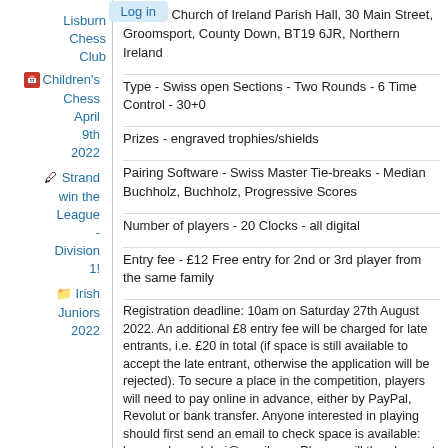Lisburn Chess Club
Children's Chess April 9th 2022
Strand win the League - Division 1!
Irish Juniors 2022
Venue - Church of Ireland Parish Hall, 30 Main Street, Groomsport, County Down, BT19 6JR, Northern Ireland
Type - Swiss open Sections - Two Rounds - 6 Time Control - 30+0
Prizes - engraved trophies/shields
Pairing Software - Swiss Master Tie-breaks - Median Buchholz, Buchholz, Progressive Scores
Number of players - 20 Clocks - all digital
Entry fee - £12 Free entry for 2nd or 3rd player from the same family
Registration deadline: 10am on Saturday 27th August 2022. An additional £8 entry fee will be charged for late entrants, i.e. £20 in total (if space is still available to accept the late entrant, otherwise the application will be rejected). To secure a place in the competition, players will need to pay online in advance, either by PayPal, Revolut or bank transfer. Anyone interested in playing should first send an email to check space is available: bangorchessclubni@gmail.com Players will then be sent payment details for the collection of entry fees.